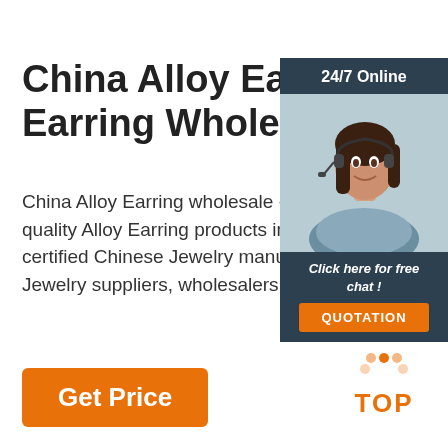China Alloy Earring, Alloy Earring Wholesale ...
China Alloy Earring wholesale - Select 2 quality Alloy Earring products in best pri certified Chinese Jewelry manufacturers Jewelry suppliers, wholesalers and ...
[Figure (photo): Customer service representative woman with headset smiling, with 24/7 Online label and chat panel]
Get Price
[Figure (logo): TOP logo with orange triangle dots and orange text]